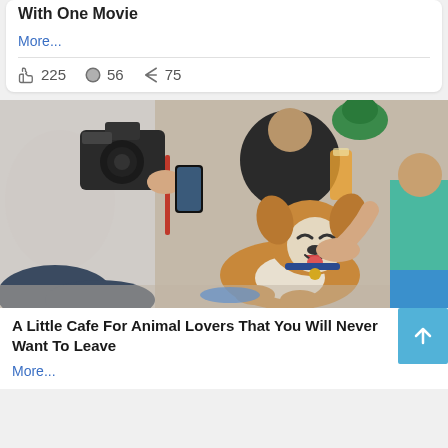With One Movie
More...
225  56  75
[Figure (photo): A happy corgi dog being petted by people sitting on the floor, with someone holding a DSLR camera. Several people are gathered around the dog in what appears to be a cafe setting.]
A Little Cafe For Animal Lovers That You Will Never Want To Leave
More...